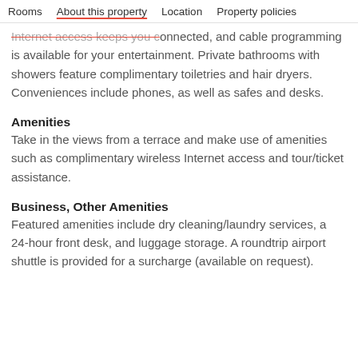Rooms | About this property | Location | Property policies
Internet access keeps you connected, and cable programming is available for your entertainment. Private bathrooms with showers feature complimentary toiletries and hair dryers. Conveniences include phones, as well as safes and desks.
Amenities
Take in the views from a terrace and make use of amenities such as complimentary wireless Internet access and tour/ticket assistance.
Business, Other Amenities
Featured amenities include dry cleaning/laundry services, a 24-hour front desk, and luggage storage. A roundtrip airport shuttle is provided for a surcharge (available on request).